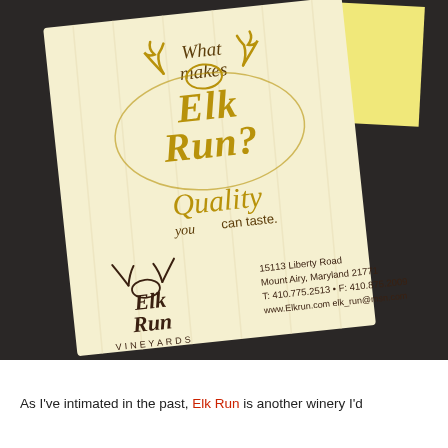[Figure (photo): Photo of an Elk Run Vineyards promotional brochure/bookmark on a dark surface with a yellow sticky note. The brochure has a cream/yellow background with gold and dark brown text. Top reads 'What makes ELK RUN?' with antler logo, middle reads 'Quality you can taste.' in cursive script, bottom has Elk Run Vineyards logo and contact info: 15113 Liberty Road, Mount Airy, Maryland 21771, T: 410.775.2513 • F: 410.875.2009, www.Elkrun.com, elk_run@msn.com]
As I've intimated in the past, Elk Run is another winery I'd